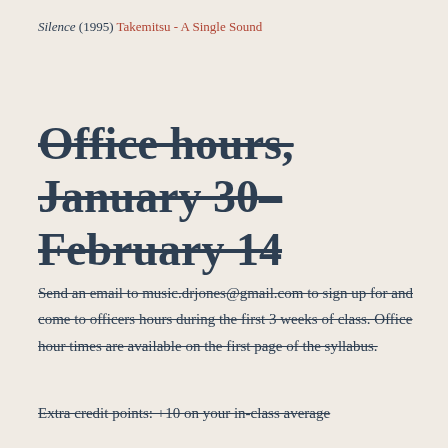Silence (1995) Takemitsu - A Single Sound
Office hours, January 30–February 14
Send an email to music.drjones@gmail.com to sign up for and come to officers hours during the first 3 weeks of class. Office hour times are available on the first page of the syllabus.
Extra credit points: +10 on your in-class average